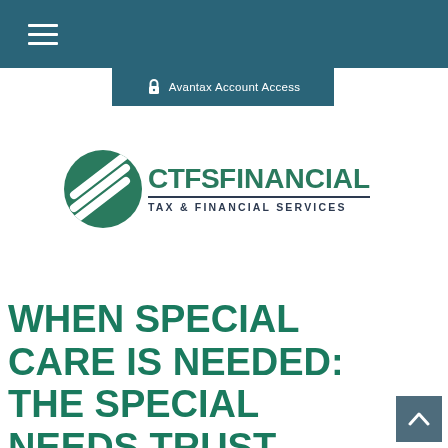Navigation bar with hamburger menu
Avantax Account Access
[Figure (logo): CTFS Financial Tax & Financial Services logo — green circle with white diagonal lines on left, green bold text 'CTFS FINANCIAL' on right, dark subtitle 'TAX & FINANCIAL SERVICES' below with horizontal rule]
WHEN SPECIAL CARE IS NEEDED: THE SPECIAL NEEDS TRUST